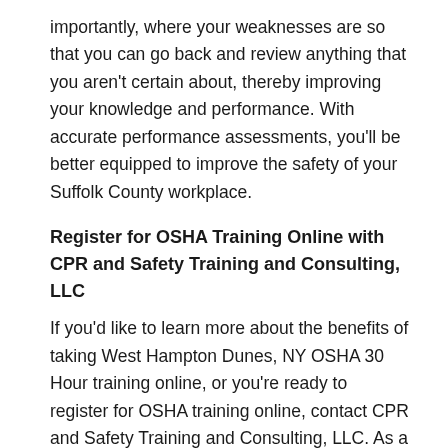importantly, where your weaknesses are so that you can go back and review anything that you aren't certain about, thereby improving your knowledge and performance. With accurate performance assessments, you'll be better equipped to improve the safety of your Suffolk County workplace.
Register for OSHA Training Online with CPR and Safety Training and Consulting, LLC
If you'd like to learn more about the benefits of taking West Hampton Dunes, NY OSHA 30 Hour training online, or you're ready to register for OSHA training online, contact CPR and Safety Training and Consulting, LLC. As a leading Suffolk County OSHA education center, we provide comprehensive OSHA training programs so that you can successfully earn your OSHA certification and improve the safety of your workplace. Call 631-882-1808 or visit https://www.safetytrainingconsulting.com for more information.